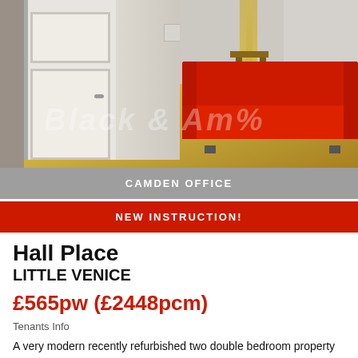[Figure (photo): Interior photo of a living room with wooden flooring, white painted walls, an open white door on the left leading to a hallway, a bamboo decoration and a small wooden side table in the center-right background, and a bright red modern sofa on the right side. A faint watermark text is visible on the floor.]
CAMDEN OFFICE
NEW INSTRUCTION!
Hall Place
LITTLE VENICE
£565pw (£2448pcm)
Tenants Info
A very modern recently refurbished two double bedroom property